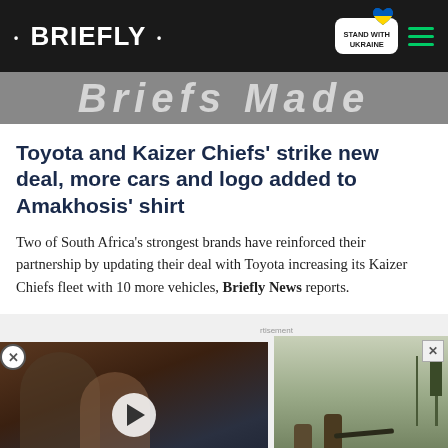• BRIEFLY • | STAND WITH UKRAINE
[Figure (screenshot): Banner image with partially visible bold italic text overlay on grey background]
Toyota and Kaizer Chiefs' strike new deal, more cars and logo added to Amakhosis' shirt
Two of South Africa's strongest brands have reinforced their partnership by updating their deal with Toyota increasing its Kaizer Chiefs fleet with 10 more vehicles, Briefly News reports.
[Figure (screenshot): Video advertisement showing two people from a movie scene with play button overlay and caption 'SHE DIRECTED THE END OF HER MARRIAGE' on teal background]
[Figure (photo): Advertisement showing soldiers in Ukraine conflict zone, with close button]
[Figure (screenshot): Bottom banner advertisement: Help Protect Ukrainian Families with DONATE NOW button and Ukraine heart flag logo]